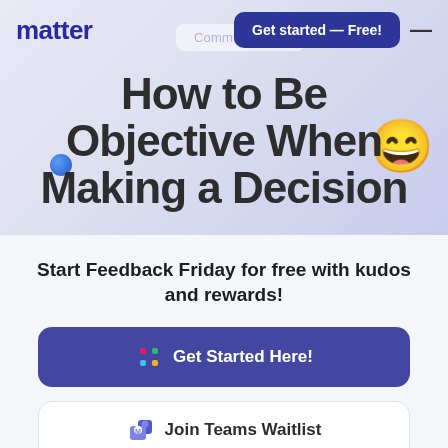matter | Communication | Get started — Free!
How to Be Objective When Making a Decision
Start Feedback Friday for free with kudos and rewards!
Get Started Here!
Join Teams Waitlist